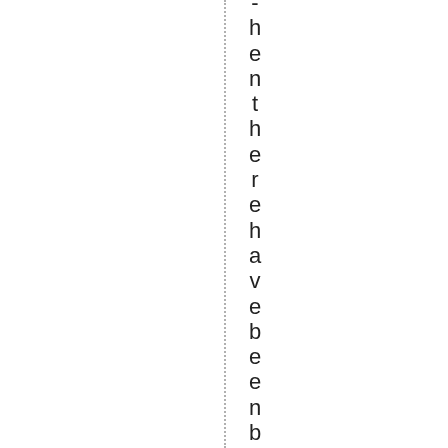- h e n t h e r e h a v e b e e n b r i e f f l a s